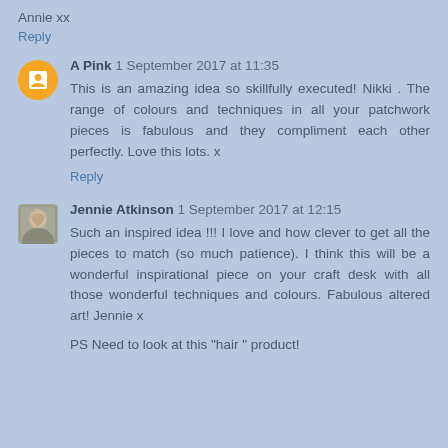Annie xx
Reply
A Pink 1 September 2017 at 11:35
This is an amazing idea so skillfully executed! Nikki . The range of colours and techniques in all your patchwork pieces is fabulous and they compliment each other perfectly. Love this lots. x
Reply
Jennie Atkinson 1 September 2017 at 12:15
Such an inspired idea !!! I love and how clever to get all the pieces to match (so much patience). I think this will be a wonderful inspirational piece on your craft desk with all those wonderful techniques and colours. Fabulous altered art! Jennie x
PS Need to look at this "hair " product!